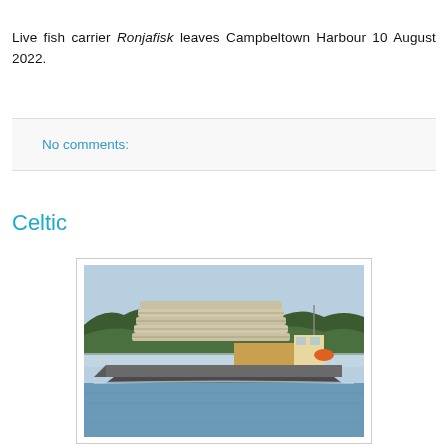Live fish carrier Ronjafisk leaves Campbeltown Harbour 10 August 2022.
No comments:
Celtic
[Figure (photo): A cargo ship carrying large cylindrical/curved structures (possibly wind turbine components or fish farm equipment) on a calm waterway, with forested hills in the background. The vessel is photographed from the side showing the large grey cargo on deck.]